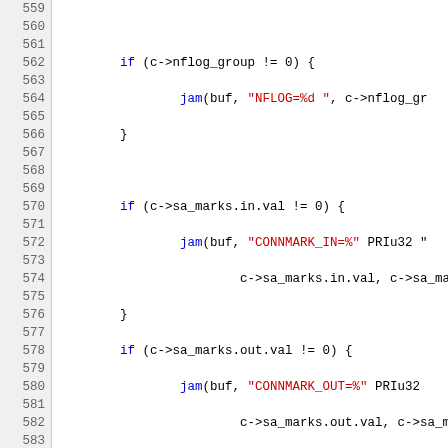[Figure (screenshot): Source code listing lines 559-583 showing C code with syntax highlighting. Blue text for keywords and identifiers, red text for string literals. Code involves nflog_group, sa_marks, xfrmi, CONNMARK, PLUTO_XFRMI_FWM related functions.]